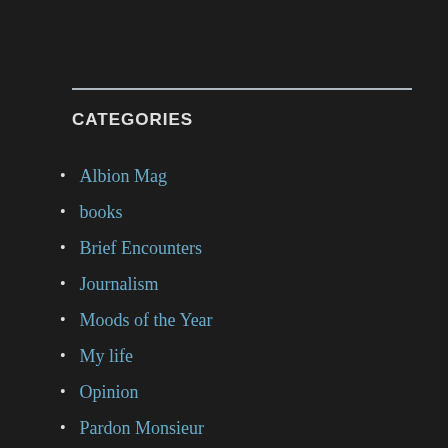CATEGORIES
Albion Mag
books
Brief Encounters
Journalism
Moods of the Year
My life
Opinion
Pardon Monsieur
Poems
The Adventures of Nathan Sunnybank and Joe Greenfield